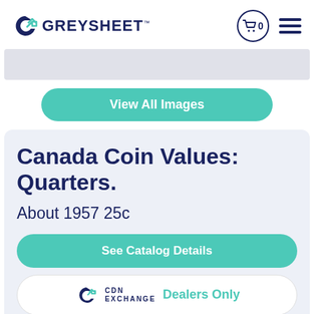GREYSHEET
Canada Coin Values: Quarters.
About 1957 25c
See Catalog Details
CDN EXCHANGE Dealers Only